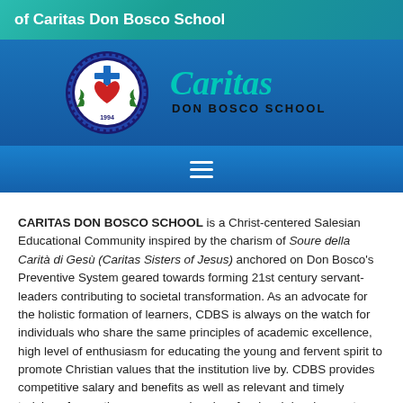of Caritas Don Bosco School
[Figure (logo): Caritas Don Bosco School circular crest logo with cross, heart, and gear, alongside the Caritas Don Bosco School text logo]
CARITAS DON BOSCO SCHOOL is a Christ-centered Salesian Educational Community inspired by the charism of Soure della Carità di Gesù (Caritas Sisters of Jesus) anchored on Don Bosco's Preventive System geared towards forming 21st century servant-leaders contributing to societal transformation. As an advocate for the holistic formation of learners, CDBS is always on the watch for individuals who share the same principles of academic excellence, high level of enthusiasm for educating the young and fervent spirit to promote Christian values that the institution live by. CDBS provides competitive salary and benefits as well as relevant and timely trainings for continuous personal and professional development.